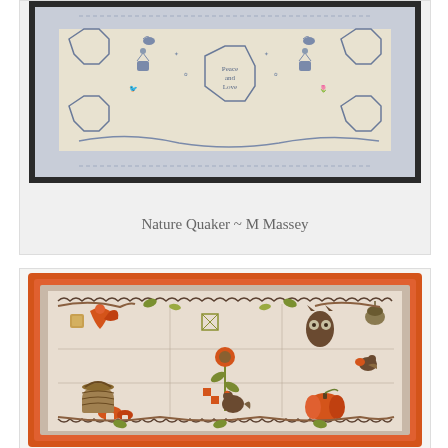[Figure (photo): Cross-stitch embroidery sampler in blue and white/cream tones, featuring a Quaker-style design with floral motifs, birds, geometric patterns, and a central octagon with 'Peace and Love' text, displayed in a dark frame.]
Nature Quaker ~ M Massey
[Figure (photo): Cross-stitch embroidery sampler displayed in an orange/coral frame, featuring autumn-themed motifs including an owl, pumpkin, flowers, mushrooms, acorn, fox, birds, and foliage in orange, brown, and olive green tones on a cream/beige linen background with a scalloped border.]